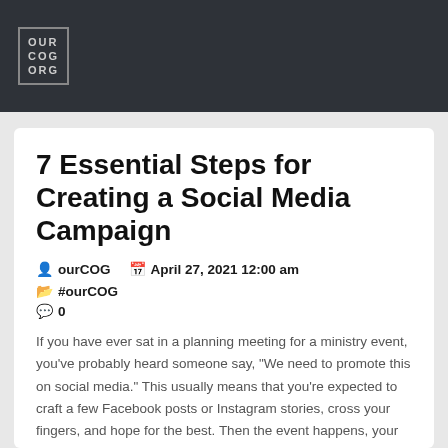OUR COG ORG
7 Essential Steps for Creating a Social Media Campaign
ourCOG   April 27, 2021 12:00 am   #ourCOG   0
If you have ever sat in a planning meeting for a ministry event, you've probably heard someone say, "We need to promote this on social media." This usually means that you're expected to craft a few Facebook posts or Instagram stories, cross your fingers, and hope for the best. Then the event happens, your social media had little effect, and you begin to doubt the power of social media.
The problem of course wasn't your event or even your social media content. The problem was you didn't think through an actual social media campaign that would have helped you create goals, get to